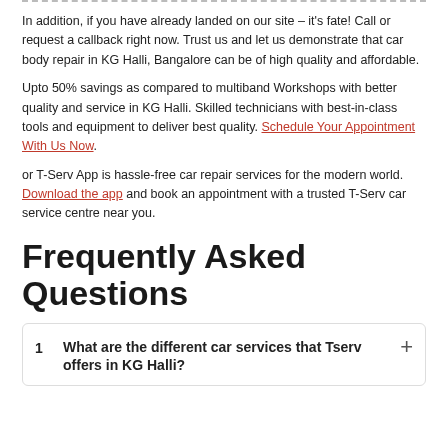In addition, if you have already landed on our site – it's fate! Call or request a callback right now. Trust us and let us demonstrate that car body repair in KG Halli, Bangalore can be of high quality and affordable.
Upto 50% savings as compared to multiband Workshops with better quality and service in KG Halli. Skilled technicians with best-in-class tools and equipment to deliver best quality. Schedule Your Appointment With Us Now.
or T-Serv App is hassle-free car repair services for the modern world. Download the app and book an appointment with a trusted T-Serv car service centre near you.
Frequently Asked Questions
1  What are the different car services that Tserv offers in KG Halli?